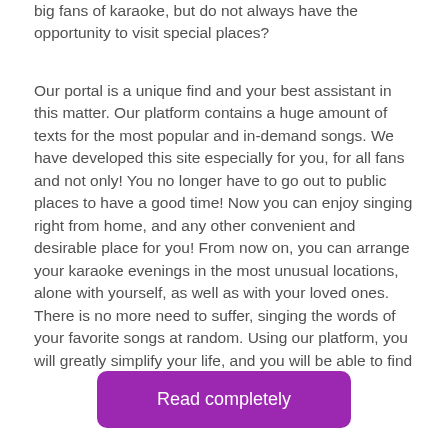big fans of karaoke, but do not always have the opportunity to visit special places?
Our portal is a unique find and your best assistant in this matter. Our platform contains a huge amount of texts for the most popular and in-demand songs. We have developed this site especially for you, for all fans and not only! You no longer have to go out to public places to have a good time! Now you can enjoy singing right from home, and any other convenient and desirable place for you! From now on, you can arrange your karaoke evenings in the most unusual locations, alone with yourself, as well as with your loved ones. There is no more need to suffer, singing the words of your favorite songs at random. Using our platform, you will greatly simplify your life, and you will be able to find
Read completely